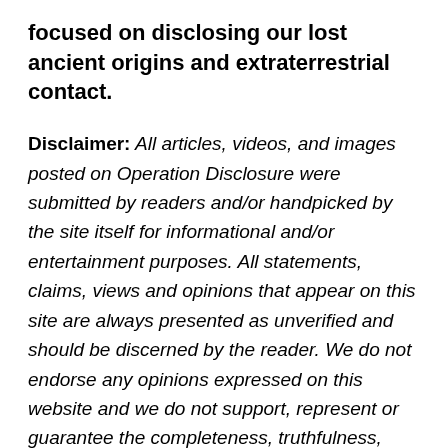focused on disclosing our lost ancient origins and extraterrestrial contact.
Disclaimer: All articles, videos, and images posted on Operation Disclosure were submitted by readers and/or handpicked by the site itself for informational and/or entertainment purposes. All statements, claims, views and opinions that appear on this site are always presented as unverified and should be discerned by the reader. We do not endorse any opinions expressed on this website and we do not support, represent or guarantee the completeness, truthfulness, accuracy, or